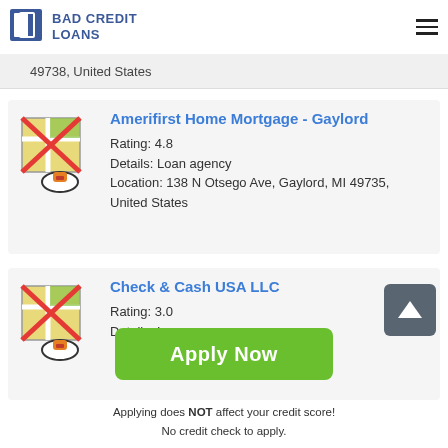BAD CREDIT LOANS
49738, United States
Amerifirst Home Mortgage - Gaylord
Rating: 4.8
Details: Loan agency
Location: 138 N Otsego Ave, Gaylord, MI 49735, United States
Check & Cash USA LLC
Rating: 3.0
Details: Loan agency
Apply Now
Applying does NOT affect your credit score!
No credit check to apply.